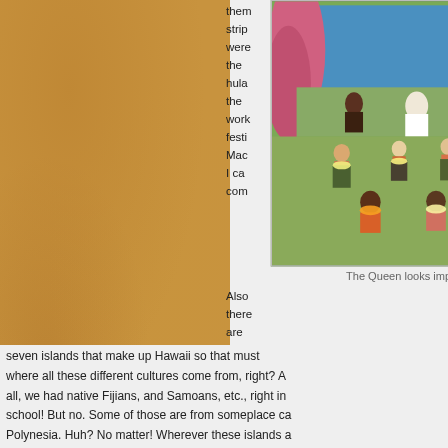[Figure (photo): Children in hula costumes with yellow and orange leis performing/sitting on grass, adults seated on stage behind them with blue backdrop]
The Queen looks impressed.
them strip were the hula the work festi Mac I ca com
Also there are seven islands that make up Hawaii so that must where all these different cultures come from, right? A all, we had native Fijians, and Samoans, etc., right in school! But no. Some of those are from someplace ca Polynesia. Huh? No matter! Wherever these islands a